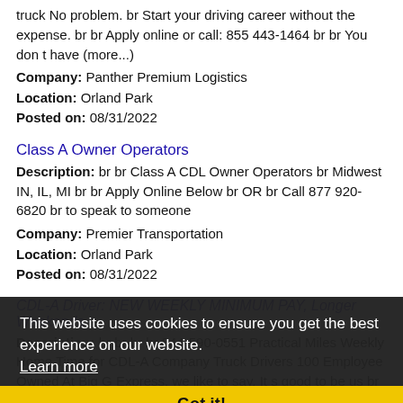truck No problem. br Start your driving career without the expense. br br Apply online or call: 855 443-1464 br br You don t have (more...)
Company: Panther Premium Logistics
Location: Orland Park
Posted on: 08/31/2022
Class A Owner Operators
Description: br br Class A CDL Owner Operators br Midwest IN, IL, MI br br Apply Online Below br OR br Call 877 920-6820 br to speak to someone
Company: Premier Transportation
Location: Orland Park
Posted on: 08/31/2022
CDL-A Driver: NEW WEEKLY MINIMUM PAY, Longer Weekends
Description: br br br br 844-590-0551 Practical Miles Weekly Home Time for CDL-A Company Truck Drivers 100 Employee Owned At Big G Express, we like to say, It s good to be us br Why you ask. When (more...)
Company: Big G Express
Location: Orland Park
Posted on: 08/31/2022
This website uses cookies to ensure you get the best experience on our website. Learn more Got it!